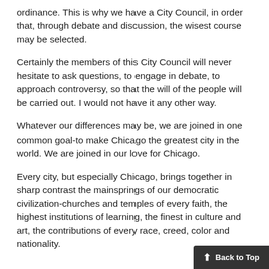ordinance. This is why we have a City Council, in order that, through debate and discussion, the wisest course may be selected.
Certainly the members of this City Council will never hesitate to ask questions, to engage in debate, to approach controversy, so that the will of the people will be carried out. I would not have it any other way.
Whatever our differences may be, we are joined in one common goal-to make Chicago the greatest city in the world. We are joined in our love for Chicago.
Every city, but especially Chicago, brings together in sharp contrast the mainsprings of our democratic civilization-churches and temples of every faith, the highest institutions of learning, the finest in culture and art, the contributions of every race, creed, color and nationality.
Back to Top